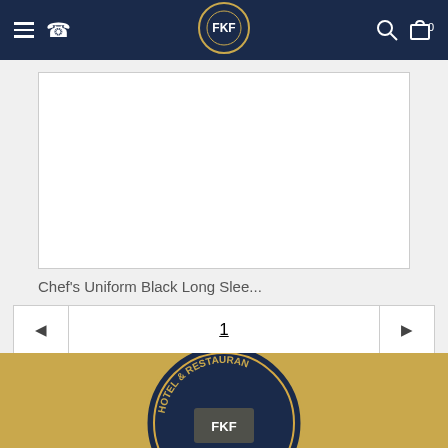FKF - Hotel & Restaurant supply navigation bar with logo, menu, phone, search, and cart icons
[Figure (other): Empty white product image card for Chef's Uniform]
Chef's Uniform Black Long Slee...
◄  1  ►
[Figure (logo): Hotel & Restaurant supply logo circle, gold border, partially visible at bottom of page]